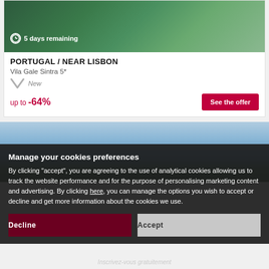[Figure (photo): Hotel building exterior with glass facade and green elements, timer badge showing 5 days remaining]
5 days remaining
PORTUGAL / NEAR LISBON
Vila Gale Sintra 5*
New
up to -64%
See the offer
[Figure (photo): Outdoor scenery with trees against blue sky, hotel grounds]
Manage your cookies preferences
By clicking "accept", you are agreeing to the use of analytical cookies allowing us to track the website performance and for the purpose of personalising marketing content and advertising. By clicking here, you can manage the options you wish to accept or decline and get more information about the cookies we use.
Decline
Accept
Inscrivez-vous gratuitement